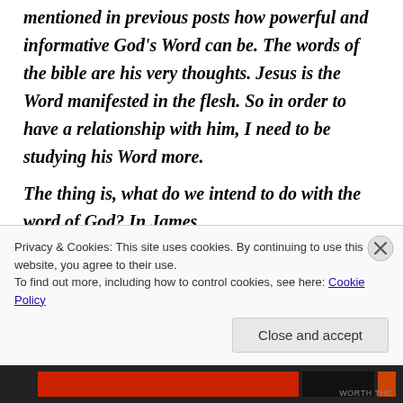and gratitude in the Word. I've mentioned in previous posts how powerful and informative God's Word can be.  The words of the bible are his very thoughts.  Jesus is the Word manifested in the flesh.  So in order to have a relationship with him, I need to be studying his Word more.
The thing is, what do we intend to do with the word of God?  In James
Privacy & Cookies: This site uses cookies. By continuing to use this website, you agree to their use.
To find out more, including how to control cookies, see here: Cookie Policy
Close and accept